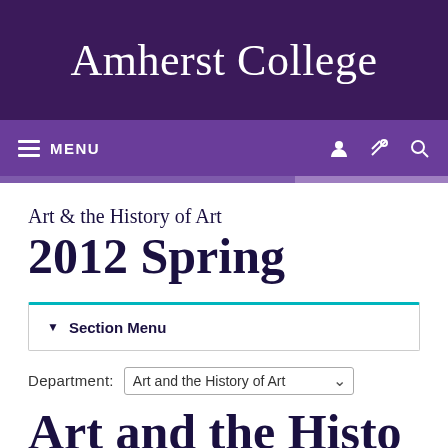Amherst College
≡ MENU
Art & the History of Art
2012 Spring
▼ Section Menu
Department: Art and the History of Art
Art and the Histo...